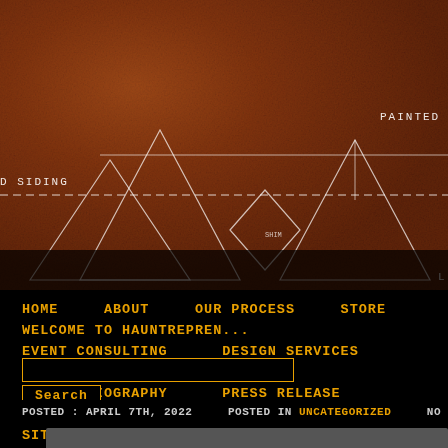[Figure (screenshot): Dark brownish-orange textured background resembling aged wood/rust with white blueprint-style architectural line drawings showing roof and siding details. Text labels visible: 'PAINTED SHINGLE RO', 'D SIDING', 'L']
HOME   ABOUT   OUR PROCESS   STORE   WELCOME TO HAUNTREPREN... EVENT CONSULTING   DESIGN SERVICES   HAUNTING EDUCATION PICKEL BIOGRAPHY   PRESS RELEASE   PROJECT PHOTO GALLERY SITEMAP
Search
POSTED : APRIL 7TH, 2022   POSTED IN UNCATEGORIZED   NO COMMENTS